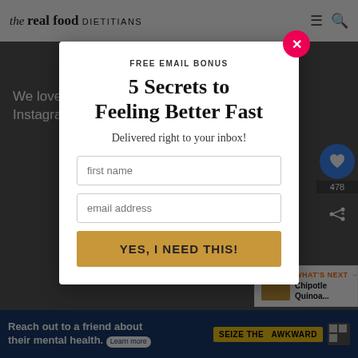the real food DIETITIANS
We love seeing what you made! Tag us on Instagram @therealdietitians
FREE EMAIL BONUS
5 Secrets to Feeling Better Fast
Delivered right to your inbox!
first name
email address
YES, I NEED THIS!
478
WHAT'S NEXT → Chipotle Quinoa...
Reach out to a friend about their mental health. Learn more | SEIZE THE AWKWARD